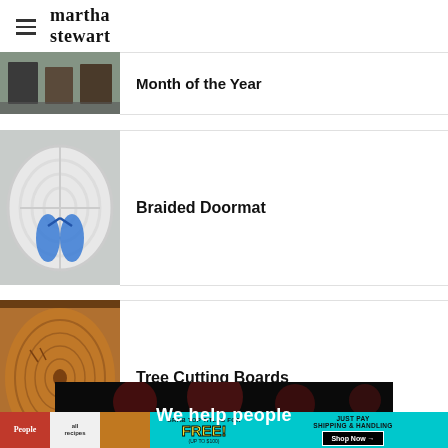martha stewart
Month of the Year
[Figure (photo): Thumbnail image of a room scene for Month of the Year article]
Braided Doormat
[Figure (photo): Overhead photo of a white braided doormat with blue flip flops]
Tree Cutting Boards
[Figure (photo): Close-up photo of a wooden tree cutting board showing grain and knots]
[Figure (photo): Dark background promotional image with text 'We help people']
[Figure (other): Advertisement banner: People, allrecipes magazines - Grab top titles for FREE, Just Pay Shipping & Handling, Shop Now]